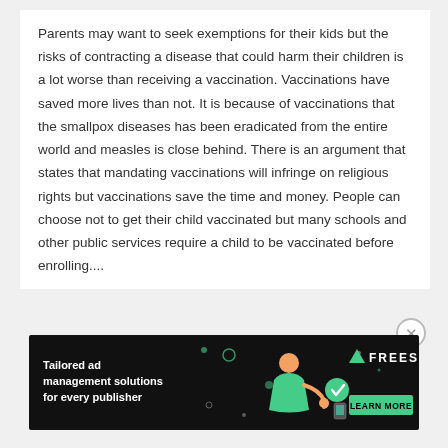Parents may want to seek exemptions for their kids but the risks of contracting a disease that could harm their children is a lot worse than receiving a vaccination. Vaccinations have saved more lives than not. It is because of vaccinations that the smallpox diseases has been eradicated from the entire world and measles is close behind. There is an argument that states that mandating vaccinations will infringe on religious rights but vaccinations save the time and money. People can choose not to get their child vaccinated but many schools and other public services require a child to be vaccinated before enrolling....
[Figure (infographic): Advertisement banner for Freestar: 'Tailored ad management solutions for every publisher' with a 'LEARN MORE' button and decorative illustration on dark background.]